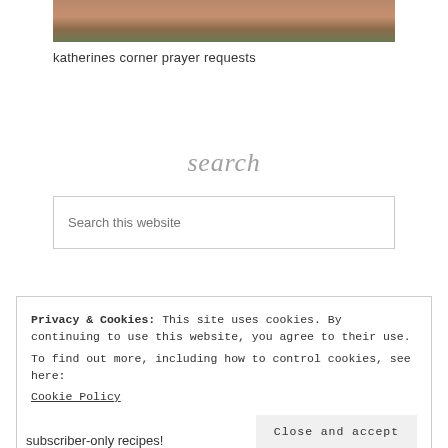[Figure (photo): Partial photo of wooden or craft objects on a surface, cropped at top]
katherines corner prayer requests
search
Search this website
Privacy & Cookies: This site uses cookies. By continuing to use this website, you agree to their use.
To find out more, including how to control cookies, see here:
Cookie Policy
Close and accept
subscriber-only recipes!